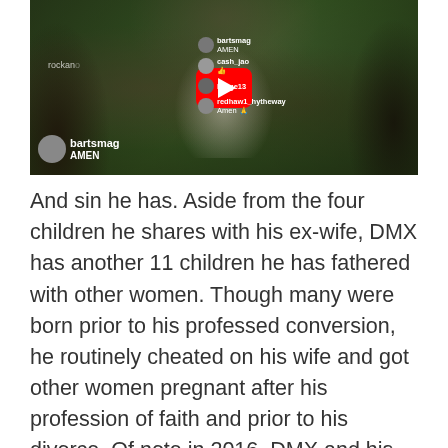[Figure (screenshot): YouTube video thumbnail showing a person outdoors, with a YouTube play button overlay and live chat comments including 'bartsmag AMEN', 'cash_jao', 'burge13', 'redhaw1_hytheway' on the right side, and a large avatar with 'bartsmag AMEN' on the left]
And sin he has. Aside from the four children he shares with his ex-wife, DMX has another 11 children he has fathered with other women. Though many were born prior to his professed conversion, he routinely cheated on his wife and got other women pregnant after his profession of faith and prior to his divorce. Of note in 2016, DMX and his longtime girlfriend Desiree Lindstrom, welcomed a son Exodus Simmons.